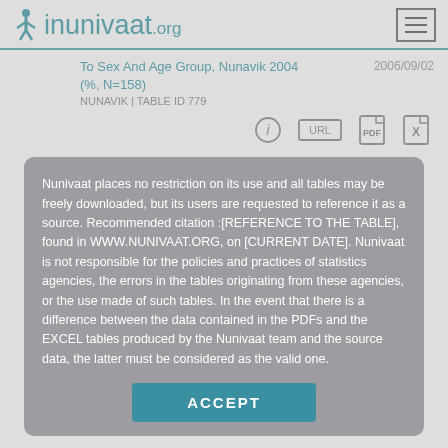inunivaat.org
To Sex And Age Group, Nunavik 2004 (%, N=158)
2006/09/02
NUNAVIK | TABLE ID 779
Nunivaat places no restriction on its use and all tables may be freely downloaded, but its users are requested to reference it as a source. Recommended citation :[REFERENCE TO THE TABLE], found in WWW.NUNIVAAT.ORG, on [CURRENT DATE]. Nunivaat is not responsible for the policies and practices of statistics agencies, the errors in the tables originating from these agencies, or the use made of such tables. In the event that there is a difference between the data contained in the PDFs and the EXCEL tables produced by the Nunivaat team and the source data, the latter must be considered as the valid one.